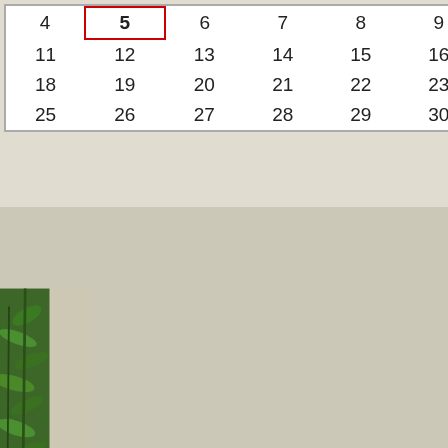| 4 | 5 | 6 | 7 | 8 | 9 | 10 |
| 11 | 12 | 13 | 14 | 15 | 16 | 17 |
| 18 | 19 | 20 | 21 | 22 | 23 | 24 |
| 25 | 26 | 27 | 28 | 29 | 30 | 1 |
[Figure (photo): Green leafy plant against stone/linen background, left side panel of webpage]
For those they may still not kno... Spartacus for 500 pts.
I think it has been largely misur... associated the hype with it bein... of the crop. In fact, I contend th... much, the Capuans and the rat... receiving praise at the present,... think the Hype created some u...
However, I offer no apologies fo... Spartacus went from being dus... of the Capuans. That in of itself... change anyone's mind about th... Steamroller build is just a simpl... what competitive build....
Posted in Heroscape Units
Hextreme New Year!!!
Posted January 7th, 2009 at 01:31 PM
Updated January 3rd, 2015 at 07:48 P...
I wanted to blog about my trip t... Summit) for the Hextreme New... and TOG.
This was a 470 mile drive from... instances of thinking, "what am...